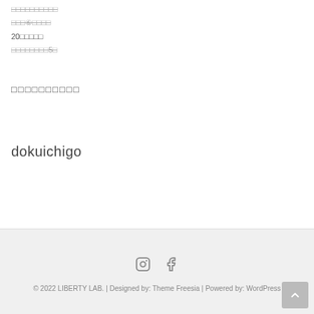□□□□□□□□□□
□□□⑥□□□□
20□□□□□
□□□□□□□□5□
□□□□□□□□□□
dokuichigo
© 2022 LIBERTY LAB. | Designed by: Theme Freesia | Powered by: WordPress